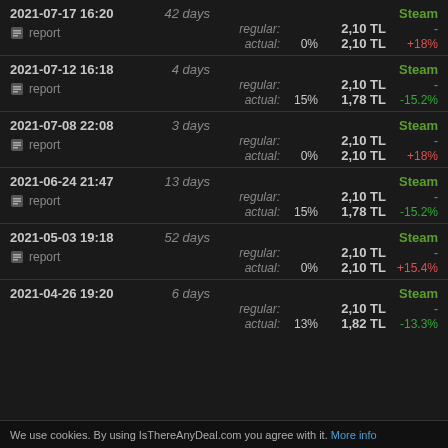| Date | Duration | Type | Label | Discount | Price | Change |
| --- | --- | --- | --- | --- | --- | --- |
| 2021-07-17 16:20 | 42 days | Steam | regular: |  | 2,10 TL | - |
|  |  |  | actual: | 0% | 2,10 TL | +18% |
| 2021-07-12 16:18 | 4 days | Steam | regular: |  | 2,10 TL | - |
|  |  |  | actual: | 15% | 1,78 TL | -15.2% |
| 2021-07-08 22:08 | 3 days | Steam | regular: |  | 2,10 TL | - |
|  |  |  | actual: | 0% | 2,10 TL | +18% |
| 2021-06-24 21:47 | 13 days | Steam | regular: |  | 2,10 TL | - |
|  |  |  | actual: | 15% | 1,78 TL | -15.2% |
| 2021-05-03 19:18 | 52 days | Steam | regular: |  | 2,10 TL | - |
|  |  |  | actual: | 0% | 2,10 TL | +15.4% |
| 2021-04-26 19:20 | 6 days | Steam | regular: |  | 2,10 TL | - |
|  |  |  | actual: | 13% | 1,82 TL | -13.3% |
We use cookies. By using IsThereAnyDeal.com you agree with it. More info